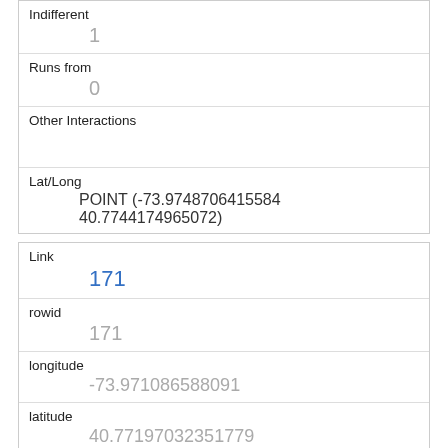| Indifferent | 1 |
| Runs from | 0 |
| Other Interactions |  |
| Lat/Long | POINT (-73.9748706415584 40.7744174965072) |
| Link | 171 |
| rowid | 171 |
| longitude | -73.971086588091 |
| latitude | 40.77197032351779 |
| Unique Squirrel ID | 9G-PM-1007-06 |
| Hectare | 09G |